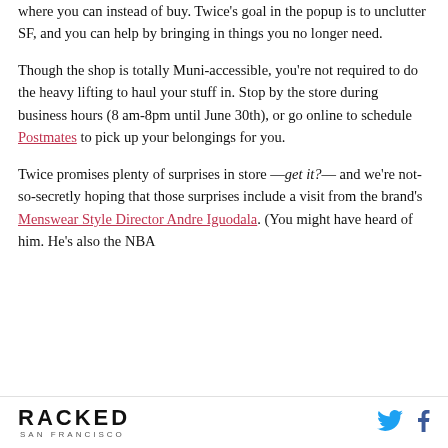where you can instead of buy. Twice's goal in the popup is to unclutter SF, and you can help by bringing in things you no longer need.
Though the shop is totally Muni-accessible, you're not required to do the heavy lifting to haul your stuff in. Stop by the store during business hours (8 am-8pm until June 30th), or go online to schedule Postmates to pick up your belongings for you.
Twice promises plenty of surprises in store —get it?— and we're not-so-secretly hoping that those surprises include a visit from the brand's Menswear Style Director Andre Iguodala. (You might have heard of him. He's also the NBA
RACKED SAN FRANCISCO